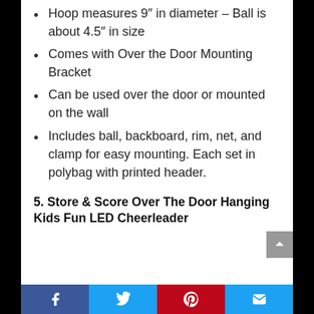Hoop measures 9″ in diameter – Ball is about 4.5″ in size
Comes with Over the Door Mounting Bracket
Can be used over the door or mounted on the wall
Includes ball, backboard, rim, net, and clamp for easy mounting. Each set in polybag with printed header.
5. Store & Score Over The Door Hanging Kids Fun LED Cheerleader